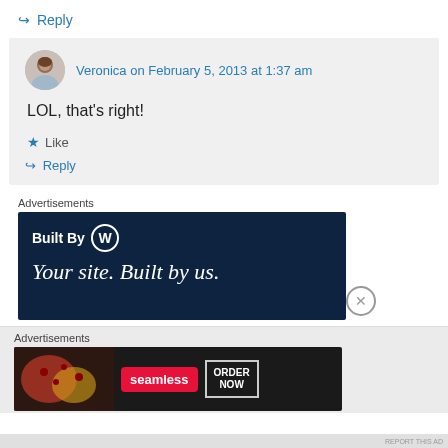↳ Reply
Veronica on February 5, 2013 at 1:37 am
LOL, that's right!
★ Like
↳ Reply
Advertisements
[Figure (screenshot): WordPress 'Built By WordPress - Your site. Built by us.' advertisement banner on dark navy background]
Advertisements
[Figure (screenshot): Seamless food delivery advertisement with pizza image, seamless logo, and ORDER NOW button]